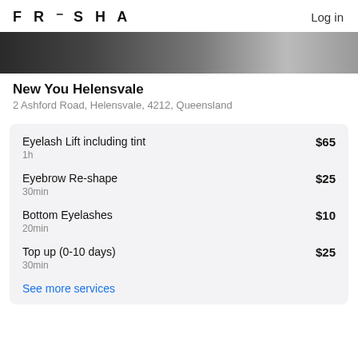FRESHA  Log in
[Figure (photo): Hero image showing a beauty salon interior, dark toned photograph]
New You Helensvale
2 Ashford Road, Helensvale, 4212, Queensland
Eyelash Lift including tint  $65  1h
Eyebrow Re-shape  $25  30min
Bottom Eyelashes  $10  20min
Top up (0-10 days)  $25  30min
See more services